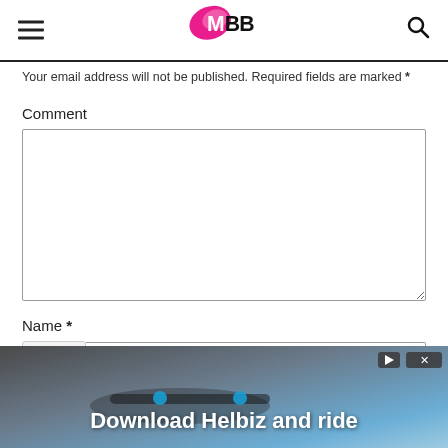IMBB logo with hamburger menu and search icon
Your email address will not be published. Required fields are marked *
Comment
Name *
[Figure (infographic): Advertisement banner: Download Helbiz and ride, with play and close buttons at top right, showing a blurred bicycle handlebar image]